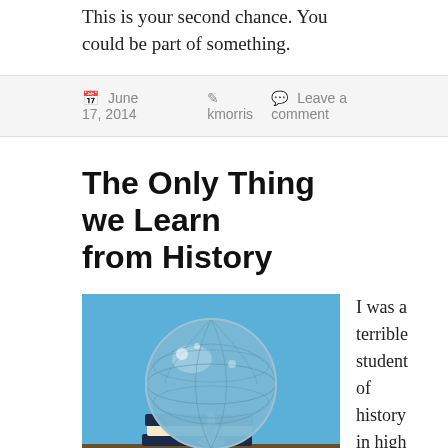This is your second chance. You could be part of something.
June 17, 2014   kmorris   Leave a comment
The Only Thing we Learn from History
[Figure (photo): A blue globe sitting on top of a stack of books on a table, with a bright blue background]
I was a terrible student of history in high school. It was my